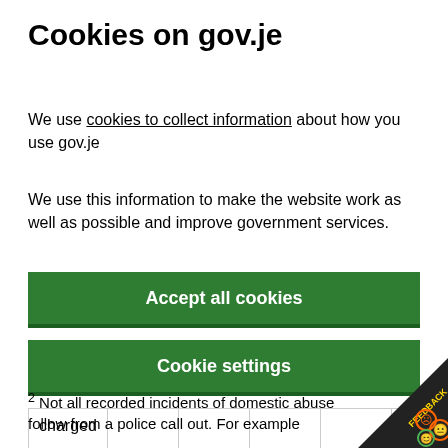Cookies on gov.je
We use cookies to collect information about how you use gov.je
We use this information to make the website work as well as possible and improve government services.
Accept all cookies
Cookie settings
| charged |  |  |  |  |  |
² Not all recorded incidents of domestic abuse follow from a police call out. For example